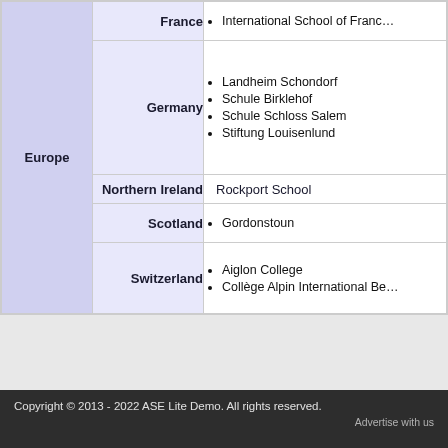| Region | Country | Schools |
| --- | --- | --- |
| Europe | France | International School of France (truncated) |
| Europe | Germany | Landheim Schondorf | Schule Birklehof | Schule Schloss Salem | Stiftung Louisenlund |
| Europe | Northern Ireland | Rockport School |
| Europe | Scotland | Gordonstoun |
| Europe | Switzerland | Aiglon College | Collège Alpin International Be(truncated) |
Copyright © 2013 - 2022 ASE Lite Demo. All rights reserved.
Advertise with us